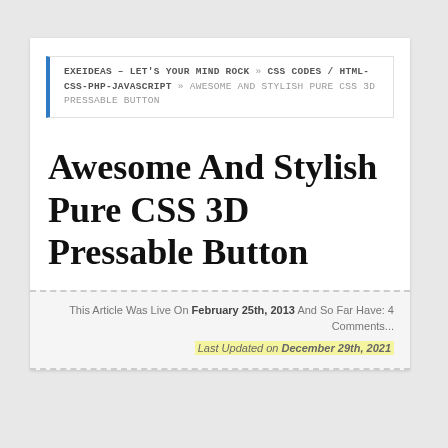EXEIDEAS – LET'S YOUR MIND ROCK » CSS CODES / HTML-CSS-PHP-JAVASCRIPT » AWESOME AND STYLISH PURE CSS 3D PRESSABLE BUTTON
Awesome And Stylish Pure CSS 3D Pressable Button
This Article Was Live On February 25th, 2013 And So Far Have: 4 Comments... Last Updated on December 29th, 2021